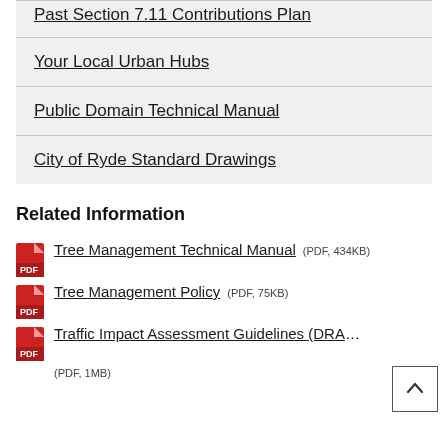Past Section 7.11 Contributions Plan
Your Local Urban Hubs
Public Domain Technical Manual
City of Ryde Standard Drawings
Related Information
Tree Management Technical Manual (PDF, 434KB)
Tree Management Policy (PDF, 75KB)
Traffic Impact Assessment Guidelines (DRA… (PDF, 1MB)